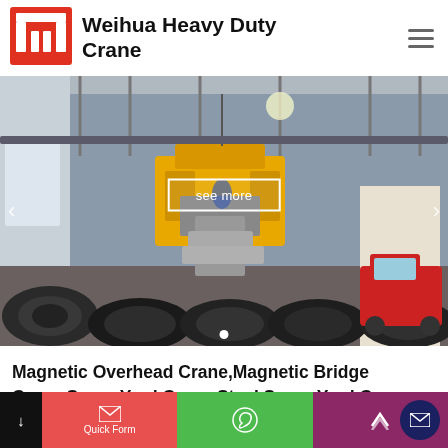[Figure (logo): Weihua Heavy Duty Crane logo: red stylized W/crane icon]
Weihua Heavy Duty Crane
[Figure (photo): Industrial warehouse interior showing a yellow magnetic overhead crane lifting large steel coils/rolls, with a truck visible in background]
see more
Magnetic Overhead Crane,Magnetic Bridge Crane,Scrap Yard Crane,Steel Scrap Yard Crane
[Figure (infographic): Bottom navigation bar with Quick Form (red), WhatsApp (green), scroll up (mauve), and email circle button]